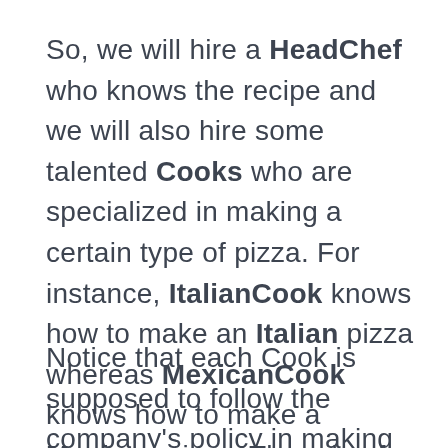So, we will hire a HeadChef who knows the recipe and we will also hire some talented Cooks who are specialized in making a certain type of pizza. For instance, ItalianCook knows how to make an Italian pizza whereas MexicanCook knows how to make a Mexican pizza. The role of HeadChef is to define the recipe to a Cook and then the other Cook will follow the recipe and finally give back the pizza to HeadChef.
Notice that each Cook is supposed to follow the company's policy in making a pizza that is, they are only allowed to use a common interface of steps but they have to implement the steps as per the requirement of their